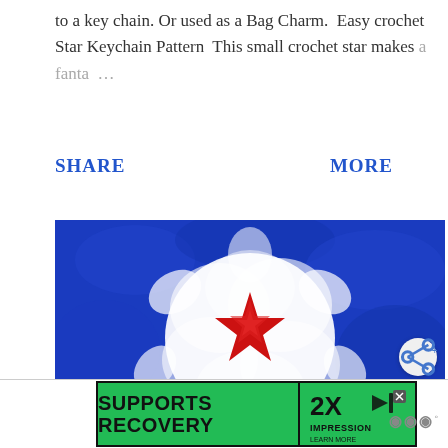to a key chain. Or used as a Bag Charm.  Easy crochet Star Keychain Pattern  This small crochet star makes a fanta… …
SHARE     MORE
[Figure (photo): Close-up photo of a crocheted star shape in red, white, and blue concentric layers on a light background. Red star in center, surrounded by white, then blue yarn.]
[Figure (infographic): Advertisement banner: green background with bold black text 'SUPPORTS RECOVERY', alongside a '2X IMPRESSION' logo with a play/speaker icon, and a close/X button. 'LEARN MORE' link at bottom.]